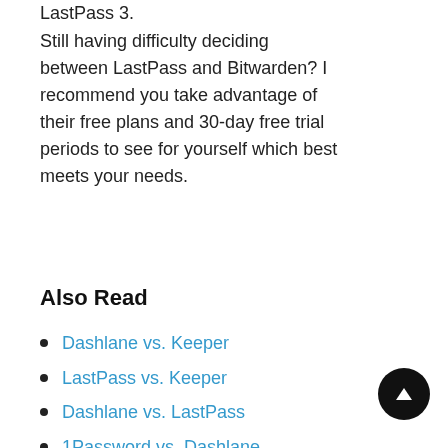LastPass 3.
Still having difficulty deciding between LastPass and Bitwarden? I recommend you take advantage of their free plans and 30-day free trial periods to see for yourself which best meets your needs.
Also Read
Dashlane vs. Keeper
LastPass vs. Keeper
Dashlane vs. LastPass
1Password vs. Dashlane
1Password vs. LastPass